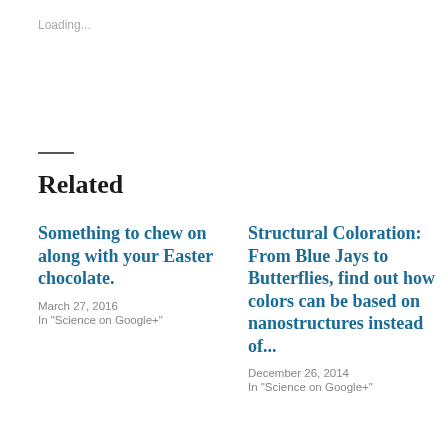Loading...
Related
Something to chew on along with your Easter chocolate.
March 27, 2016
In "Science on Google+"
Structural Coloration: From Blue Jays to Butterflies, find out how colors can be based on nanostructures instead of...
December 26, 2014
In "Science on Google+"